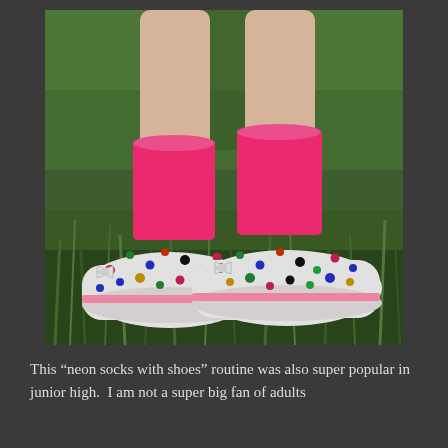[Figure (photo): Close-up photograph of two feet wearing bright neon pink/hot pink ankle socks and white polka-dot flat shoes with small bow decorations, standing on green grass.]
This “neon socks with shoes” routine was also super popular in junior high.  I am not a super big fan of adults